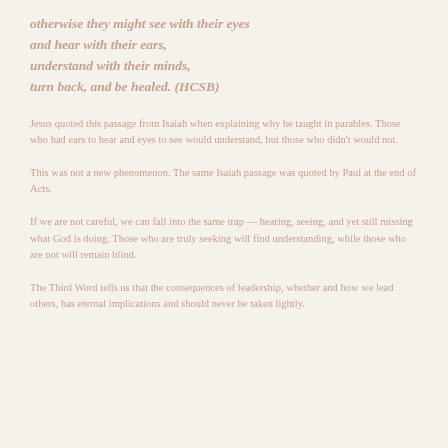otherwise they might see with their eyes and hear with their ears, understand with their minds, turn back, and be healed. (HCSB)
Jesus quoted this passage from Isaiah when explaining why he taught in parables. Those who had ears to hear and eyes to see would understand, but those who didn't would not.
This was not a new phenomenon. The same Isaiah passage was quoted by Paul at the end of Acts.
If we are not careful, we can fall into the same trap — hearing, seeing, and yet still missing what God is doing.
The Third Word tells us that the consequences of leadership, whether and how we lead others, has eternal implications and should never be taken lightly.